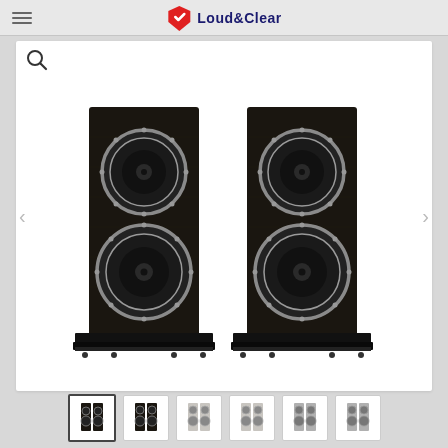Loud & Clear
[Figure (photo): Product page screenshot showing a pair of tall black floorstanding loudspeakers (Fyne Audio) with two large drivers each, placed on black spiked plinths, displayed side by side against a white background on the Loud & Clear website.]
[Figure (thumbnail-strip): Row of thumbnail images at the bottom of the product page: two dark-finish speaker thumbnails on the left, two light/grey-finish speaker thumbnails in the center, and two more grey-finish speaker thumbnails on the right.]